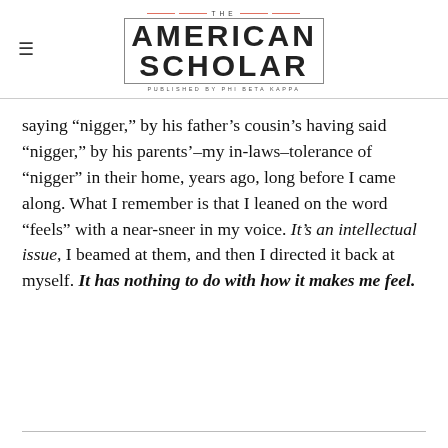THE AMERICAN SCHOLAR — PUBLISHED BY PHI BETA KAPPA
saying “nigger,” by his father’s cousin’s having said “nigger,” by his parents’–my in-laws–tolerance of “nigger” in their home, years ago, long before I came along. What I remember is that I leaned on the word “feels” with a near-sneer in my voice. It’s an intellectual issue, I beamed at them, and then I directed it back at myself. It has nothing to do with how it makes me feel.